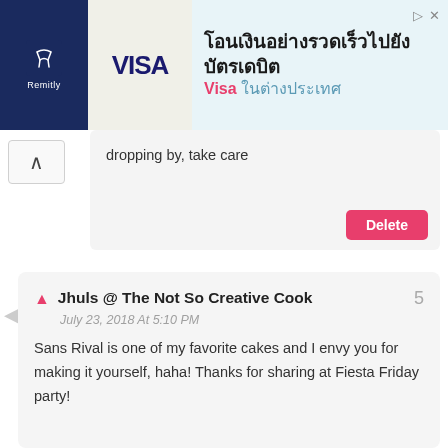[Figure (screenshot): Advertisement banner for Remitly/Visa with Thai text: โอนเงินอย่างรวดเร็วไปยังบัตรเดบิต Visa ในต่างประเทศ]
dropping by, take care
Delete
Jhuls @ The Not So Creative Cook
July 23, 2018 At 5:10 PM
Sans Rival is one of my favorite cakes and I envy you for making it yourself, haha! Thanks for sharing at Fiesta Friday party!